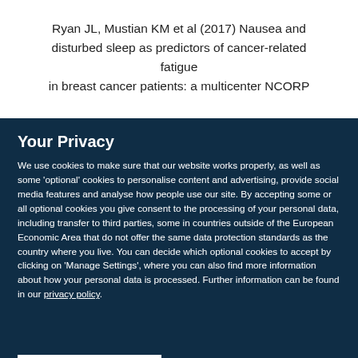Ryan JL, Mustian KM et al (2017) Nausea and disturbed sleep as predictors of cancer-related fatigue in breast cancer patients: a multicenter NCORP
Your Privacy
We use cookies to make sure that our website works properly, as well as some 'optional' cookies to personalise content and advertising, provide social media features and analyse how people use our site. By accepting some or all optional cookies you give consent to the processing of your personal data, including transfer to third parties, some in countries outside of the European Economic Area that do not offer the same data protection standards as the country where you live. You can decide which optional cookies to accept by clicking on 'Manage Settings', where you can also find more information about how your personal data is processed. Further information can be found in our privacy policy.
Accept all cookies
Manage preferences